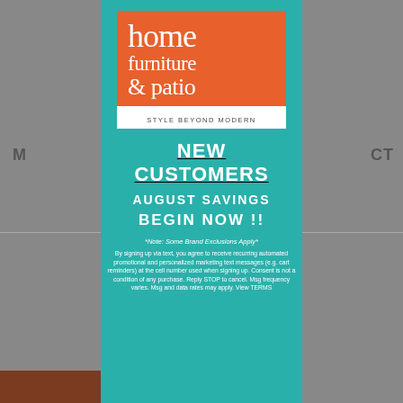[Figure (logo): Home Furniture & Patio logo. Orange square with white serif text reading 'home furniture & patio' and white tagline bar below reading 'STYLE BEYOND MODERN']
NEW CUSTOMERS
AUGUST SAVINGS
BEGIN NOW !!
*Note: Some Brand Exclusions Apply*
By signing up via text, you agree to receive recurring automated promotional and personalized marketing text messages (e.g. cart reminders) at the cell number used when signing up. Consent is not a condition of any purchase. Reply STOP to cancel. Msg frequency varies. Msg and data rates may apply. View TERMS